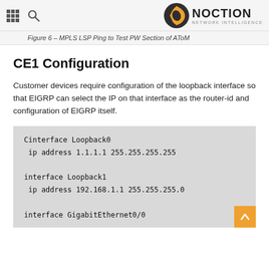NOCTION NETWORK INTELLIGENCE
Figure 6 – MPLS LSP Ping to Test PW Section of AToM
CE1 Configuration
Customer devices require configuration of the loopback interface so that EIGRP can select the IP on that interface as the router-id and configuration of EIGRP itself.
Cinterface Loopback0
 ip address 1.1.1.1 255.255.255.255

interface Loopback1
 ip address 192.168.1.1 255.255.255.0

interface GigabitEthernet0/0